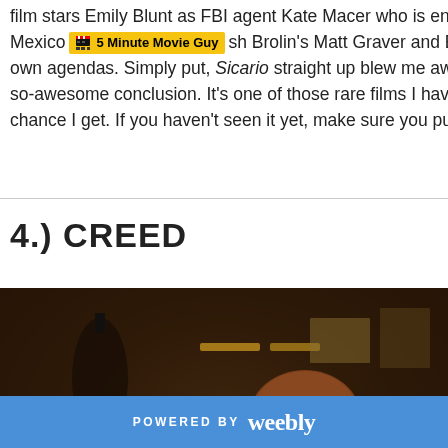5 Minute Movie Guy
film stars Emily Blunt as FBI agent Kate Macer who is enlisted in Mexico [...]etes Josh Brolin's Matt Graver and B... own agendas. Simply put, Sicario straight up blew me away. It ha... so-awesome conclusion. It's one of those rare films I haven't be... chance I get. If you haven't seen it yet, make sure you put it at the...
4.) CREED
[Figure (photo): A young Black male boxer in a white sleeveless shirt training in a boxing gym, leaning forward in a fighting stance. Dark moody background with boxing equipment visible.]
POWERED BY weebly